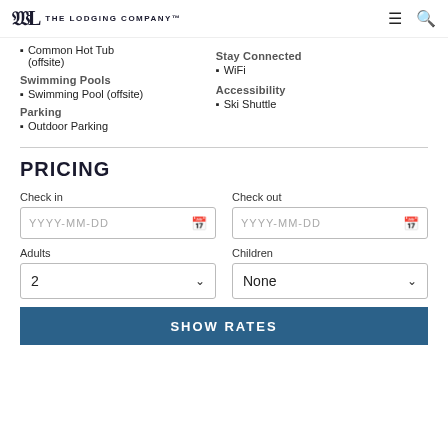The Lodging Company
Common Hot Tub (offsite)
Swimming Pools
Swimming Pool (offsite)
Parking
Outdoor Parking
Stay Connected
WiFi
Accessibility
Ski Shuttle
PRICING
Check in
YYYY-MM-DD
Check out
YYYY-MM-DD
Adults
2
Children
None
SHOW RATES